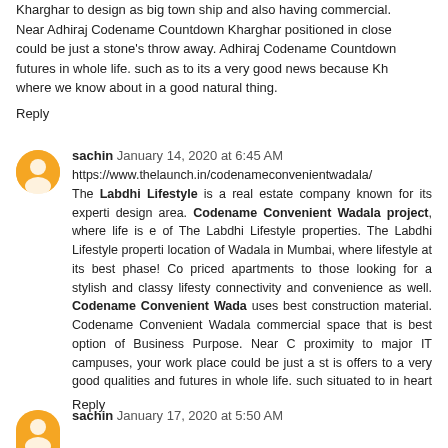Kharghar to design as big town ship and also having commercial. Near Adhiraj Codename Countdown Kharghar positioned in close could be just a stone's throw away. Adhiraj Codename Countdown futures in whole life. such as to its a very good news because Kh where we know about in a good natural thing.
Reply
sachin January 14, 2020 at 6:45 AM
https://www.thelaunch.in/codenameconvenientwadala/ The Labdhi Lifestyle is a real estate company known for its experti design area. Codename Convenient Wadala project, where life is e of The Labdhi Lifestyle properties. The Labdhi Lifestyle properti location of Wadala in Mumbai, where lifestyle at its best phase! Co priced apartments to those looking for a stylish and classy lifesty connectivity and convenience as well. Codename Convenient Wada uses best construction material. Codename Convenient Wadala commercial space that is best option of Business Purpose. Near C proximity to major IT campuses, your work place could be just a st is offers to a very good qualities and futures in whole life. such situated to in heart of Mumbai, where we know about in a good nat
Reply
sachin January 17, 2020 at 5:50 AM